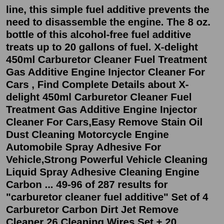line, this simple fuel additive prevents the need to disassemble the engine. The 8 oz. bottle of this alcohol-free fuel additive treats up to 20 gallons of fuel. X-delight 450ml Carburetor Cleaner Fuel Treatment Gas Additive Engine Injector Cleaner For Cars , Find Complete Details about X-delight 450ml Carburetor Cleaner Fuel Treatment Gas Additive Engine Injector Cleaner For Cars,Easy Remove Stain Oil Dust Cleaning Motorcycle Engine Automobile Spray Adhesive For Vehicle,Strong Powerful Vehicle Cleaning Liquid Spray Adhesive Cleaning Engine Carbon ... 49-96 of 287 results for "carburetor cleaner fuel additive" Set of 4 Carburetor Carbon Dirt Jet Remove Cleaner 26 Cleaning Wires Set + 20 Cleaning Needles + 10 Nylon Brushes Tool Kit for Motorcycle ATV Moped Welder Carb Chainsaw Spray Guns Torch Tips 49-96 of 287 results for "carburetor cleaner fuel additive" Set of 4 Carburetor Carbon Dirt Jet Remove Cleaner 26 Cleaning Wires Set + 20 Cleaning Needles + 10 Nylon Brushes Tool Kit for